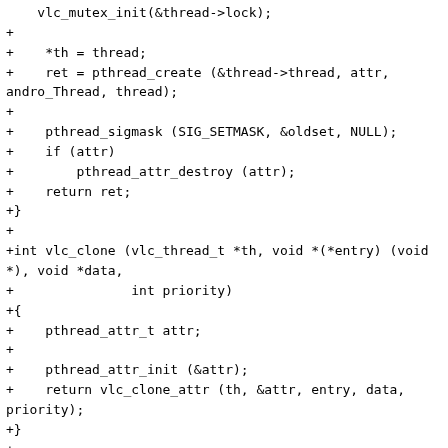vlc_mutex_init(&thread->lock);
+
+    *th = thread;
+    ret = pthread_create (&thread->thread, attr,
andro_Thread, thread);
+
+    pthread_sigmask (SIG_SETMASK, &oldset, NULL);
+    if (attr)
+        pthread_attr_destroy (attr);
+    return ret;
+}
+
+int vlc_clone (vlc_thread_t *th, void *(*entry) (void *), void *data,
+               int priority)
+{
+    pthread_attr_t attr;
+
+    pthread_attr_init (&attr);
+    return vlc_clone_attr (th, &attr, entry, data,
priority);
+}
+
+void vlc_join (vlc_thread_t handle, void **result)
+{
+    vlc_testcancel();
+    while (!vlc_atomic_get(&handle->finished))
+        msleep(CLOCK_FREQ / 100);
+
+    int val = pthread_join (handle->thread, result);
+    VLC_THREAD_ASSERT ("joining thread");